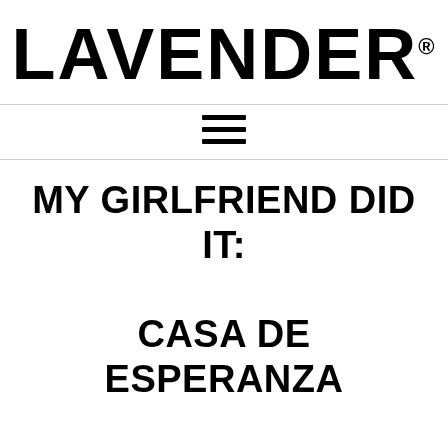LAVENDER®
[Figure (other): Hamburger menu icon (three horizontal lines)]
MY GIRLFRIEND DID IT: CASA DE ESPERANZA LESBIAN DOMESTIC VIOLENCE FILM IS STILL